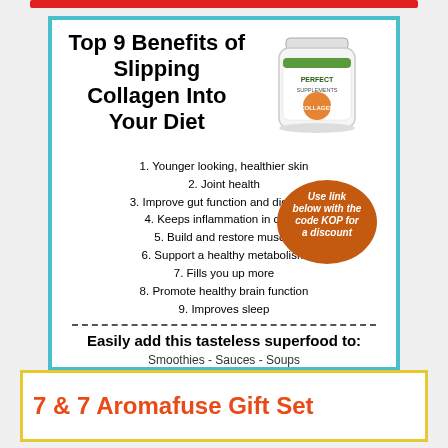[Figure (infographic): Collagen supplement advertisement with top 9 benefits list, product jar image, discount badge, usage suggestions, and website URL]
7 & 7 Aromafuse Gift Set